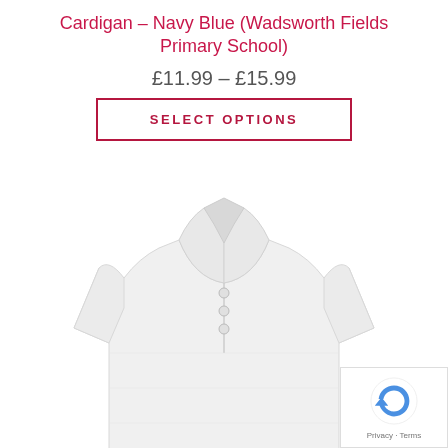Cardigan – Navy Blue (Wadsworth Fields Primary School)
£11.99 – £15.99
SELECT OPTIONS
[Figure (photo): White school polo shirt with collar and three buttons, short sleeves, displayed on a plain white background.]
Privacy · Terms